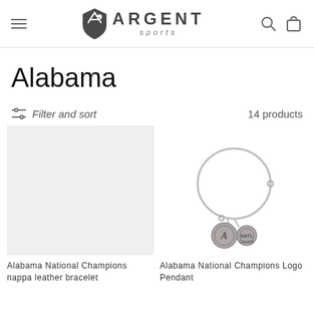Argent Sports — Navigation header with hamburger menu, logo, search and cart icons
Alabama
Filter and sort   14 products
[Figure (photo): Product image placeholder — gray background, no product shown — Alabama National Champions nappa leather bracelet]
[Figure (photo): Photo of a silver wire bangle bracelet with two round charm pendants bearing Alabama Crimson Tide logo — Alabama National Champions Logo Pendant]
Alabama National Champions nappa leather bracelet
Alabama National Champions Logo Pendant